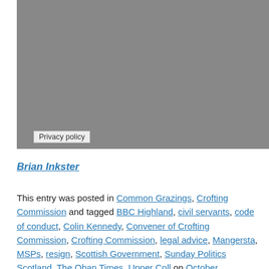[Figure (photo): Grey placeholder image with a Privacy policy label overlay at the bottom left]
Brian Inkster
This entry was posted in Common Grazings, Crofting Commission and tagged BBC Highland, civil servants, code of conduct, Colin Kennedy, Convener of Crofting Commission, Crofting Commission, legal advice, Mangersta, MSPs, resign, Scottish Government, Sunday Politics Scotland, The Oban Times, Upper Coll on October